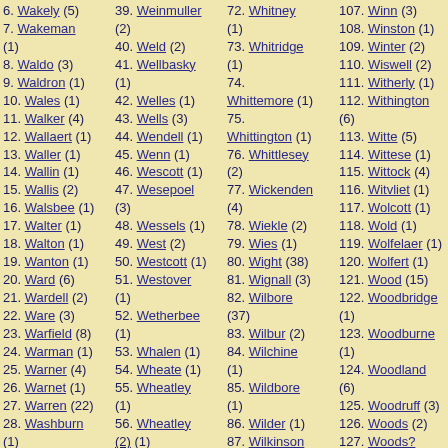6. Wakely (5)
7. Wakeman (1)
8. Waldo (3)
9. Waldron (1)
10. Wales (1)
11. Walker (4)
12. Wallaert (1)
13. Waller (1)
14. Wallin (1)
15. Wallis (2)
16. Walsbee (1)
17. Walter (1)
18. Walton (1)
19. Wanton (1)
20. Ward (6)
21. Wardell (2)
22. Ware (3)
23. Warfield (8)
24. Warman (1)
25. Warner (4)
26. Warnet (1)
27. Warren (22)
28. Washburn (1)
29. Watson (1)
30. Way (1)
31. Weare (4)
32. Weatherwax (1)
33. Weaver (1)
34. Webb (5)
39. Weinmuller (2)
40. Weld (2)
41. Wellbasky (1)
42. Welles (1)
43. Wells (3)
44. Wendell (1)
45. Wenn (1)
46. Wescott (1)
47. Wesepoel (3)
48. Wessels (1)
49. West (2)
50. Westcott (1)
51. Westover (1)
52. Wetherbee (1)
53. Whalen (1)
54. Wheate (1)
55. Wheatley (1)
56. Wheatley (?) (1)
57. Wheaton (5)
58. Wheeler (28)
59. Wheelock (2)
60.
72. Whitney (1)
73. Whitridge (1)
74. Whittemore (1)
75. Whittington (1)
76. Whittlesey (2)
77. Wickenden (4)
78. Wiekle (2)
79. Wies (1)
80. Wight (38)
81. Wignall (3)
82. Wilbore (37)
83. Wilbur (2)
84. Wilchine (1)
85. Wildbore (1)
86. Wilder (1)
87. Wilkinson (7)
88. Willems (1)
89. Willemse (1)
90. Willemsen (1)
107. Winn (3)
108. Winston (1)
109. Winter (2)
110. Wiswell (2)
111. Witherly (1)
112. Withington (6)
113. Witte (5)
114. Wittese (1)
115. Wittock (4)
116. Witvliet (1)
117. Wolcott (1)
118. Wold (1)
119. Wolfelaer (1)
120. Wolfert (1)
121. Wood (15)
122. Woodbridge (1)
123. Woodburne (1)
124. Woodland (6)
125. Woodruff (3)
126. Woods (2)
127. Woods? Sawyer? (1)
128. Woodward (3)
129. Workman? (1)
130. Wright (11)
131. Wrinkmore